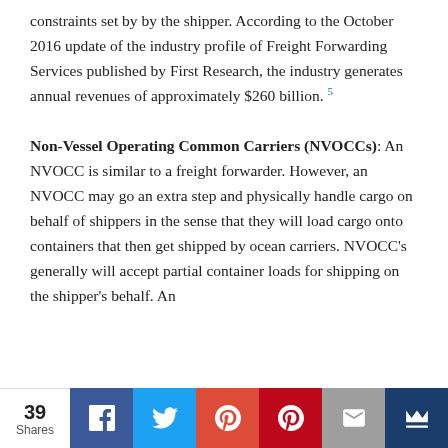constraints set by by the shipper. According to the October 2016 update of the industry profile of Freight Forwarding Services published by First Research, the industry generates annual revenues of approximately $260 billion. 5
Non-Vessel Operating Common Carriers (NVOCCs)
: An NVOCC is similar to a freight forwarder. However, an NVOCC may go an extra step and physically handle cargo on behalf of shippers in the sense that they will load cargo onto containers that then get shipped by ocean carriers. NVOCC's generally will accept partial container loads for shipping on the shipper's behalf. An